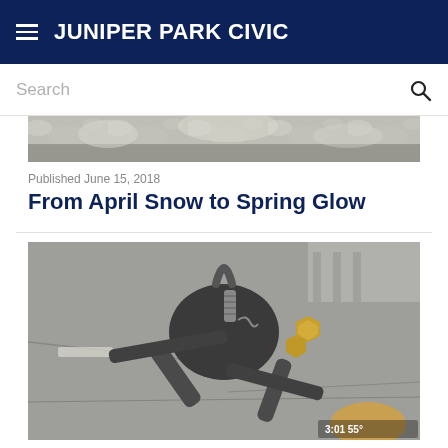JUNIPER PARK CIVIC
Search
[Figure (photo): Top strip of a black and white snowy scene]
Published June 15, 2018
From April Snow to Spring Glow
[Figure (photo): Close-up photo of a metal clamp/coupling tool held over a concrete surface, with a timestamp overlay showing 3:01 55°]